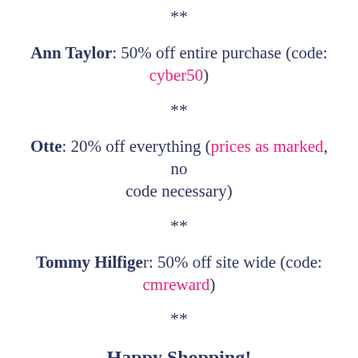**
Ann Taylor: 50% off entire purchase (code: cyber50)
**
Otte: 20% off everything (prices as marked, no code necessary)
**
Tommy Hilfiger: 50% off site wide (code: cmreward)
**
Happy Shopping!